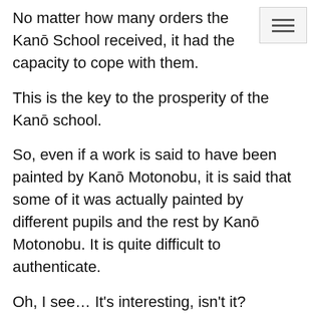No matter how many orders the Kanō School received, it had the capacity to cope with them.
This is the key to the prosperity of the Kanō school.
So, even if a work is said to have been painted by Kanō Motonobu, it is said that some of it was actually painted by different pupils and the rest by Kanō Motonobu. It is quite difficult to authenticate.
Oh, I see… It's interesting, isn't it?
Anyway, so much happened in the Muromachi period.
After this period, it was the era of the warring states.